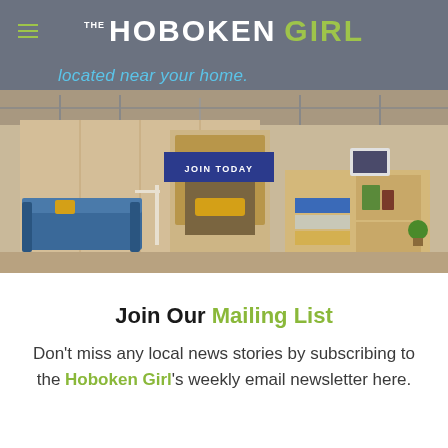THE HOBOKEN GIRL
located near your home.
[Figure (photo): Interior of a coworking space with plywood walls, blue sofas, a nook with yellow cushions, and a shelving unit with colorful drawers. A 'JOIN TODAY' button overlay is centered on the image.]
Join Our Mailing List
Don't miss any local news stories by subscribing to the Hoboken Girl's weekly email newsletter here.